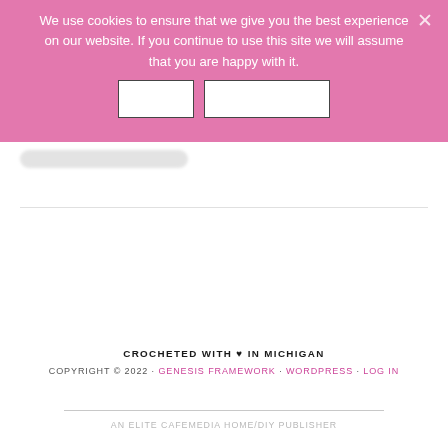We use cookies to ensure that we give you the best experience on our website. If you continue to use this site we will assume that you are happy with it.
[Figure (other): Cookie consent dialog with two white button boxes side by side and a close X in top right corner, on pink background]
[Figure (other): Blurred/redacted search bar element]
CROCHETED WITH ♥ IN MICHIGAN
COPYRIGHT © 2022 · GENESIS FRAMEWORK · WORDPRESS · LOG IN
AN ELITE CAFEMEDIA HOME/DIY PUBLISHER